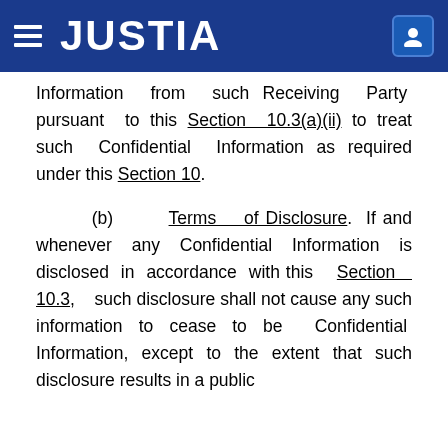JUSTIA
Information from such Receiving Party pursuant to this Section 10.3(a)(ii) to treat such Confidential Information as required under this Section 10.
(b) Terms of Disclosure. If and whenever any Confidential Information is disclosed in accordance with this Section 10.3, such disclosure shall not cause any such information to cease to be Confidential Information, except to the extent that such disclosure results in a public